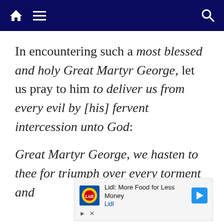Navigation bar with home, menu, and search icons
In encountering such a most blessed and holy Great Martyr George, let us pray to him to deliver us from every evil by [his] fervent intercession unto God:
Great Martyr George, we hasten to thee for triumph over every torment and
[Figure (other): Lidl advertisement banner: 'Lidl: More Food for Less Money' with Lidl logo and navigation arrow icon]